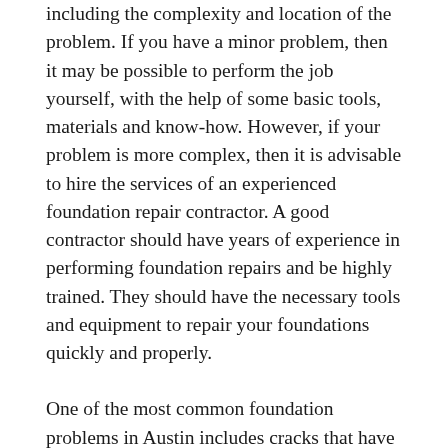including the complexity and location of the problem. If you have a minor problem, then it may be possible to perform the job yourself, with the help of some basic tools, materials and know-how. However, if your problem is more complex, then it is advisable to hire the services of an experienced foundation repair contractor. A good contractor should have years of experience in performing foundation repairs and be highly trained. They should have the necessary tools and equipment to repair your foundations quickly and properly.
One of the most common foundation problems in Austin includes cracks that have opened up through the floor of a house. Foundation cracks can lead to water damage, mold growth and even structural damage to the house. When you consider the damage that could result from this situation, you will realize that hiring a foundation repair contractor to take care of the problem is certainly worth the investment. The following are some of the more common